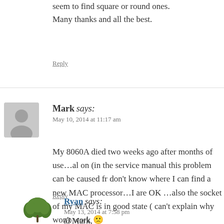seem to find square or round ones.
Many thanks and all the best.
Reply
Mark says:
May 10, 2014 at 11:17 am
My 8060A died two weeks ago after months of use…al on (in the service manual this problem can be caused fr don't know where I can find a new MAC processor…I are OK …also the socket of my MAC is in good state ( can't explain why won't work 🙁
Reply
Ryan says:
May 13, 2014 at 7:58 pm
@Mark,